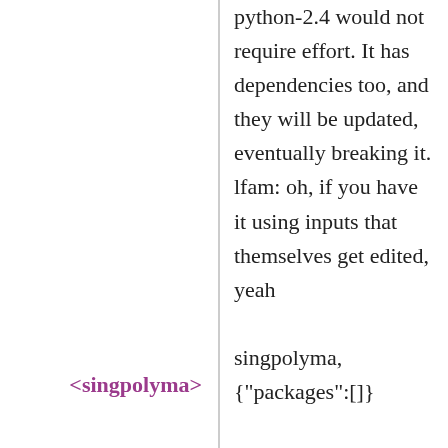<singpolyma>
python-2.4 would not require effort. It has dependencies too, and they will be updated, eventually breaking it. lfam: oh, if you have it using inputs that themselves get edited, yeah
<jgart>
singpolyma, {"packages":[]}
<lfam>
Overall, it's a question about "What is Guix?" Guix is a lot of things, but I don't think it